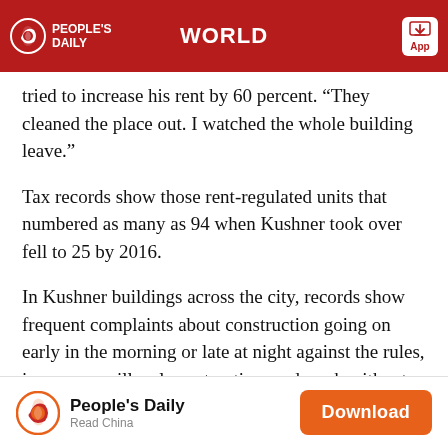PEOPLE'S DAILY | WORLD | App
tried to increase his rent by 60 percent. “They cleaned the place out. I watched the whole building leave.”
Tax records show those rent-regulated units that numbered as many as 94 when Kushner took over fell to 25 by 2016.
In Kushner buildings across the city, records show frequent complaints about construction going on early in the morning or late at night against the rules, improper or illegal construction, and work without a permit.
At a six-story walk-up in Manhattan’s East Village that was once home to the Beat poet Allen Ginsberg, the
People's Daily | Read China | Download